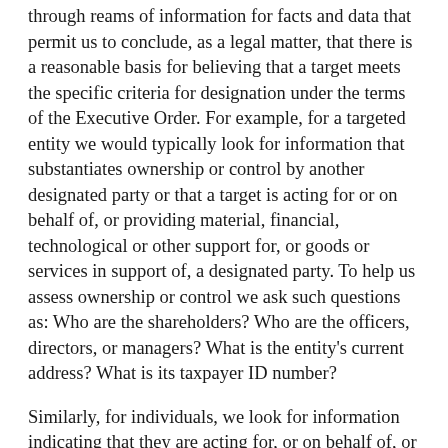through reams of information for facts and data that permit us to conclude, as a legal matter, that there is a reasonable basis for believing that a target meets the specific criteria for designation under the terms of the Executive Order. For example, for a targeted entity we would typically look for information that substantiates ownership or control by another designated party or that a target is acting for or on behalf of, or providing material, financial, technological or other support for, or goods or services in support of, a designated party. To help us assess ownership or control we ask such questions as: Who are the shareholders? Who are the officers, directors, or managers? What is the entity's current address? What is its taxpayer ID number?
Similarly, for individuals, we look for information indicating that they are acting for, or on behalf of, or providing material support to a designated party. To help us assess this, we try to understand their exact relationships with designated parties. Moreover, and this cannot be overstated, in order to make our sanctions effective, we have to have adequate unclassified identifiers for our targets that can be included in publication of the designation. This is essential in